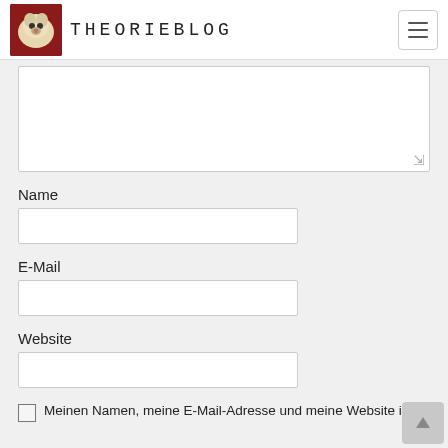THEORIEBLOG
[Figure (screenshot): Textarea input field (comment box), partially visible, with resize handle]
Name
[Figure (screenshot): Text input field for Name]
E-Mail
[Figure (screenshot): Text input field for E-Mail]
Website
[Figure (screenshot): Text input field for Website]
Meinen Namen, meine E-Mail-Adresse und meine Website in